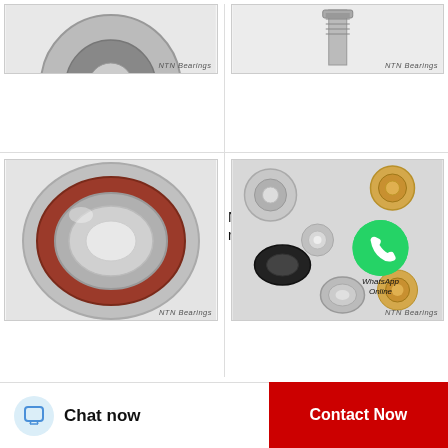[Figure (photo): NTN tapered roller bearing partial view, top portion cut off, NTN Bearings watermark]
NTN T-M272749D/M272710G2...
[Figure (photo): NTN cylindrical roller bearing with bolt/stud, NTN Bearings watermark]
NTN 4R4429 cylindrical roller bearings
[Figure (photo): NTN 6804NR deep groove ball bearing, red/brown seal visible, NTN Bearings watermark]
NTN 6804NR deep groove ball bearings
[Figure (photo): Multiple NTN needle roller and ball bearings scattered, WhatsApp Online overlay icon, NTN Bearings watermark]
NTN KJ30X37X27.3 needle roller bearings
Chat now
Contact Now